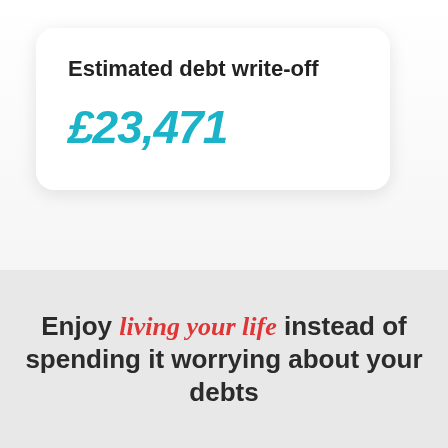Estimated debt write-off
£23,471
Enjoy living your life instead of spending it worrying about your debts